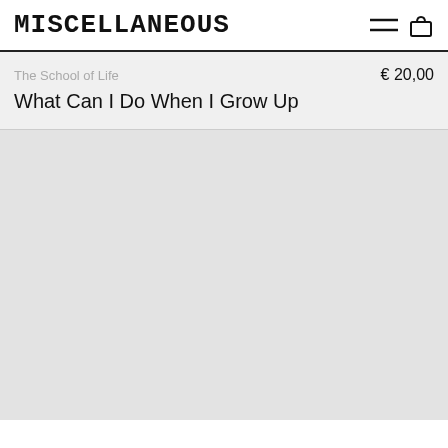MISCELLANEOUS
The School of Life   € 20,00
What Can I Do When I Grow Up
[Figure (other): Large gray empty area below product listing]